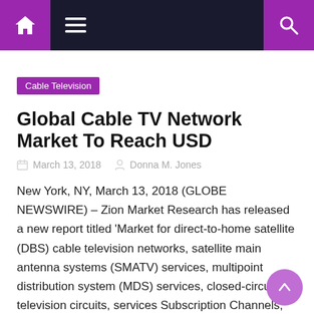Navigation bar with home, menu, and search icons
Cable Television
Global Cable TV Network Market To Reach USD
March 13, 2018   Donna M. Jones
New York, NY, March 13, 2018 (GLOBE NEWSWIRE) – Zion Market Research has released a new report titled 'Market for direct-to-home satellite (DBS) cable television networks, satellite main antenna systems (SMATV) services, multipoint distribution system (MDS) services, closed-circuit television circuits, services Subscription Channels, Cable and Other Pay-TV Services, By Region (North America, Europe, Asia-Pacific, Latin [...]